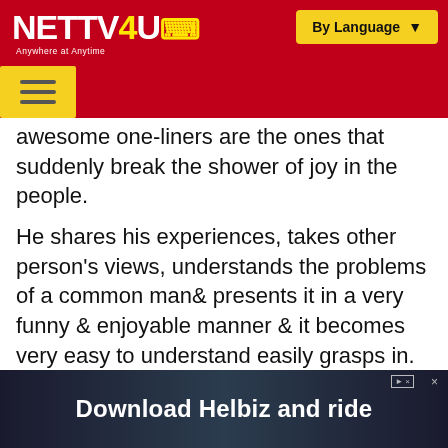NETTV4U — Anywhere at Anytime | By Language
awesome one-liners are the ones that suddenly break the shower of joy in the people.
He shares his experiences, takes other person's views, understands the problems of a common man& presents it in a very funny & enjoyable manner & it becomes very easy to understand easily grasps in. Mr. Suman is a true rock-star. His sense of humor & comic timing makes even the toughest of topics easier to discuss & get a suitable conclusion on that. He often mimics politicians, celebrities & presents their 'black' side out by means of laughter. This show is laugh riot with a
[Figure (screenshot): Advertisement banner: 'Download Helbiz and ride' with a dark background showing a person, ad label and close button in top-right]